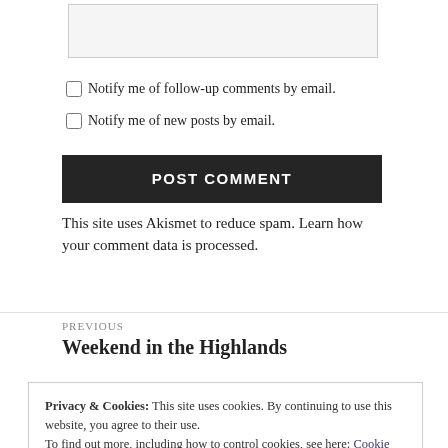[text input box]
Notify me of follow-up comments by email.
Notify me of new posts by email.
POST COMMENT
This site uses Akismet to reduce spam. Learn how your comment data is processed.
PREVIOUS
Weekend in the Highlands
Privacy & Cookies: This site uses cookies. By continuing to use this website, you agree to their use.
To find out more, including how to control cookies, see here: Cookie Policy
Close and accept